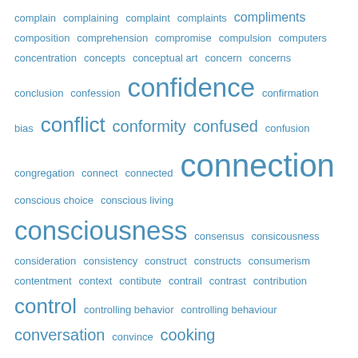[Figure (other): Word cloud / tag cloud of terms beginning with 'con', 'co', 'cr' in blue, with font size reflecting frequency/importance. Terms include: complain, complaining, complaint, complaints, compliments, composition, comprehension, compromise, compulsion, computers, concentration, concepts, conceptual art, concern, concerns, conclusion, confession, confidence, confirmation bias, conflict, conformity, confused, confusion, congregation, connect, connected, connection, conscious choice, conscious living, consciousness, consensus, consicousness, consideration, consistency, construct, constructs, consumerism, contentment, context, contibute, contrail, contrast, contribution, control, controlling behavior, controlling behaviour, conversation, convince, cooking, cooperation, coping, corinthians, corona virus, corporate culture, corporations, correct, correction, cosmetics, cost, costumes, counselling, counting, couple, couples, courage, COVID, COVID-19, crack, crane, crash, crawl, crazy, creating, creation, creative, creativity, credit, cree, creep, crime, crippled, crisis, critical, criticism, cruelty, crying]